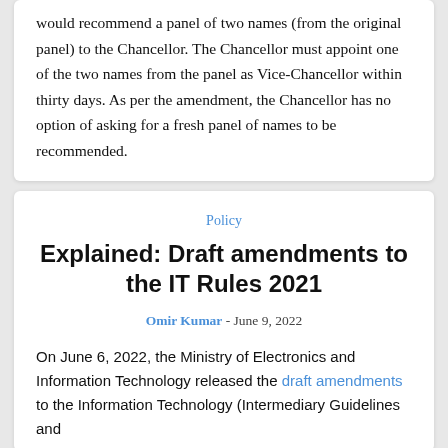would recommend a panel of two names (from the original panel) to the Chancellor.  The Chancellor must appoint one of the two names from the panel as Vice-Chancellor within thirty days.  As per the amendment, the Chancellor has no option of asking for a fresh panel of names to be recommended.
Policy
Explained: Draft amendments to the IT Rules 2021
Omir Kumar - June 9, 2022
On June 6, 2022, the Ministry of Electronics and Information Technology released the draft amendments to the Information Technology (Intermediary Guidelines and